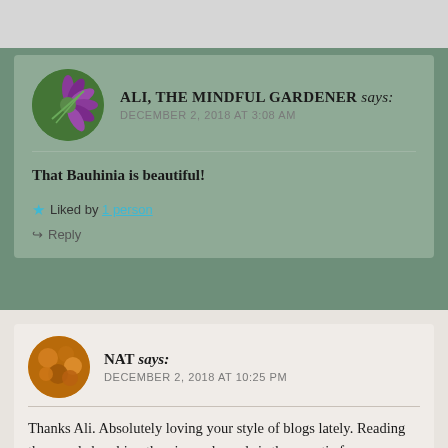ALI, THE MINDFUL GARDENER says: DECEMBER 2, 2018 AT 3:08 AM
That Bauhinia is beautiful!
Liked by 1 person
Reply
NAT says: DECEMBER 2, 2018 AT 10:25 PM
Thanks Ali. Absolutely loving your style of blogs lately. Reading them and absorbing the pics and words is therapeutic for me. Thank you 🌸